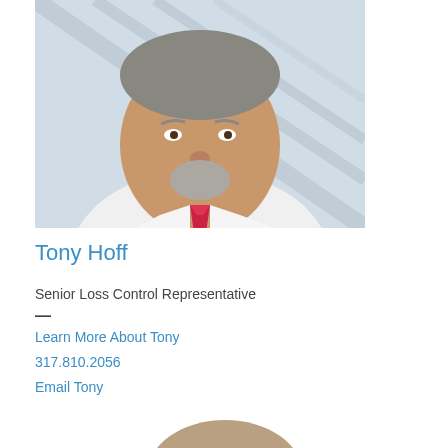[Figure (photo): Professional headshot of Tony Hoff, a heavyset middle-aged man in a white dress shirt with a red/pink tie, smiling, against a light blue background]
Tony Hoff
Senior Loss Control Representative
—
Learn More About Tony
317.810.2056
Email Tony
[Figure (photo): Top of head of a second person with light brown/blonde hair, partially visible at the bottom of the page]